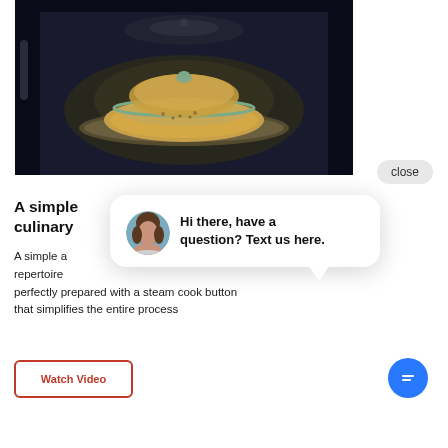[Figure (photo): A glass casserole dish with lid inside a dark microwave or steam oven, illuminated from within, showing cooked food inside the dish.]
A simple culinary
A simple a... repertoire ... perfectly prepared with a steam cook button that simplifies the entire process
[Figure (screenshot): Chat popup widget with avatar photo of a woman, showing message 'Hi there, have a question? Text us here.' with a close button and blue chat icon circle.]
Watch Video